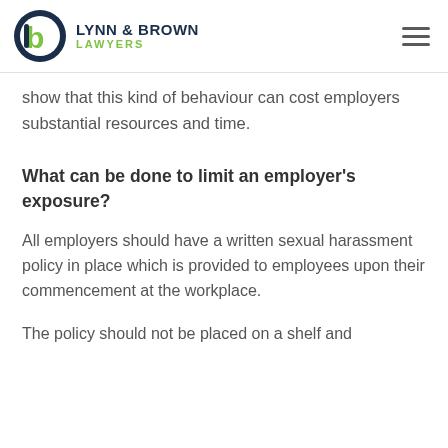LYNN & BROWN LAWYERS
show that this kind of behaviour can cost employers substantial resources and time.
What can be done to limit an employer's exposure?
All employers should have a written sexual harassment policy in place which is provided to employees upon their commencement at the workplace.
The policy should not be placed on a shelf and